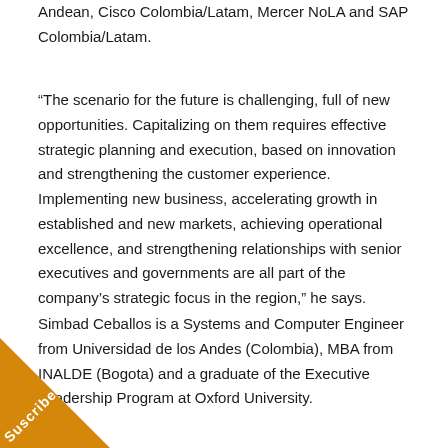Andean, Cisco Colombia/Latam, Mercer NoLA and SAP Colombia/Latam.
“The scenario for the future is challenging, full of new opportunities. Capitalizing on them requires effective strategic planning and execution, based on innovation and strengthening the customer experience. Implementing new business, accelerating growth in established and new markets, achieving operational excellence, and strengthening relationships with senior executives and governments are all part of the company’s strategic focus in the region,” he says.
Simbad Ceballos is a Systems and Computer Engineer from Universidad de los Andes (Colombia), MBA from INALDE (Bogota) and a graduate of the Executive Leadership Program at Oxford University.
[Figure (other): Orange diagonal banner in the bottom-left corner with the text 'Suscribe' written diagonally.]